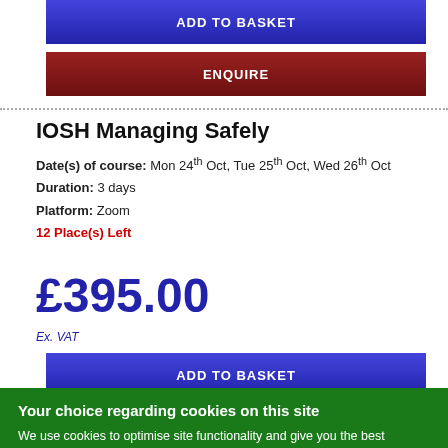ADD TO BASKET
ENQUIRE
IOSH Managing Safely
Date(s) of course: Mon 24th Oct, Tue 25th Oct, Wed 26th Oct
Duration: 3 days
Platform: Zoom
12 Place(s) Left
£395.00
Ex. VAT
ADD TO BASKET
ENQUIRE
Your choice regarding cookies on this site
We use cookies to optimise site functionality and give you the best possible experience.
Accept
Cookie Preferences